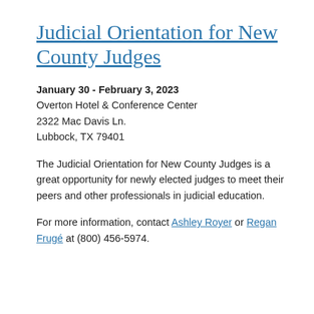Judicial Orientation for New County Judges
January 30 - February 3, 2023
Overton Hotel & Conference Center
2322 Mac Davis Ln.
Lubbock, TX 79401
The Judicial Orientation for New County Judges is a great opportunity for newly elected judges to meet their peers and other professionals in judicial education.
For more information, contact Ashley Royer or Regan Frugé at (800) 456-5974.